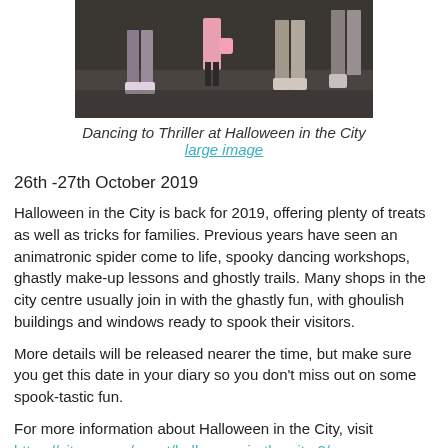[Figure (photo): Partial view of people dancing at Halloween in the City event, showing legs and feet on a patterned floor, with a child in a pink outfit visible in the center.]
Dancing to Thriller at Halloween in the City
large image
26th -27th October 2019
Halloween in the City is back for 2019, offering plenty of treats as well as tricks for families. Previous years have seen an animatronic spider come to life, spooky dancing workshops, ghastly make-up lessons and ghostly trails. Many shops in the city centre usually join in with the ghastly fun, with ghoulish buildings and windows ready to spook their visitors.
More details will be released nearer the time, but make sure you get this date in your diary so you don't miss out on some spook-tastic fun.
For more information about Halloween in the City, visit https://cityco.com/event/halloween-in-the-city-2/
Bolton Winter Festival